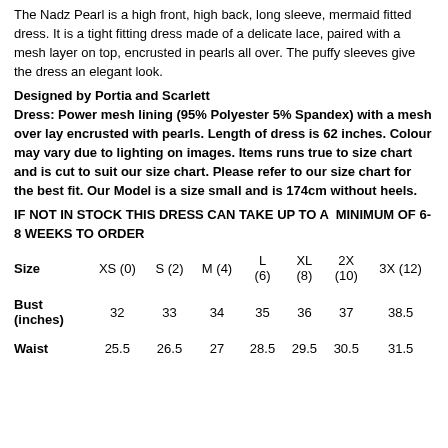The Nadz Pearl is a high front, high back, long sleeve, mermaid fitted dress. It is a tight fitting dress made of a delicate lace, paired with a mesh layer on top, encrusted in pearls all over. The puffy sleeves give the dress an elegant look.
Designed by Portia and Scarlett
Dress: Power mesh lining (95% Polyester 5% Spandex) with a mesh over lay encrusted with pearls. Length of dress is 62 inches. Colour may vary due to lighting on images. Items runs true to size chart and is cut to suit our size chart. Please refer to our size chart for the best fit. Our Model is a size small and is 174cm without heels.
IF NOT IN STOCK THIS DRESS CAN TAKE UP TO A MINIMUM OF 6-8 WEEKS TO ORDER
| Size | XS (0) | S (2) | M (4) | L (6) | XL (8) | 2X (10) | 3X (12) |
| --- | --- | --- | --- | --- | --- | --- | --- |
| Bust (inches) | 32 | 33 | 34 | 35 | 36 | 37 | 38.5 |
| Waist | 25.5 | 26.5 | 27 | 28.5 | 29.5 | 30.5 | 31.5 |